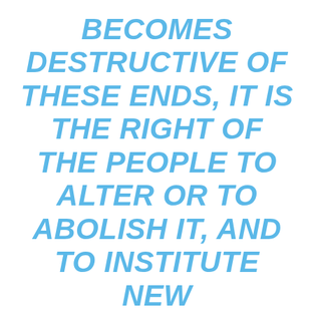BECOMES DESTRUCTIVE OF THESE ENDS, IT IS THE RIGHT OF THE PEOPLE TO ALTER OR TO ABOLISH IT, AND TO INSTITUTE NEW GOVERNMENT… [EMPHASIS MINE.]
Yarvin might be right that the Founders took a wrong turn with the Constitution. Maybe America would have been better off with 50 or more smaller jurisdictions run by benevolent dictators without legislatures. There are, after all, examples of